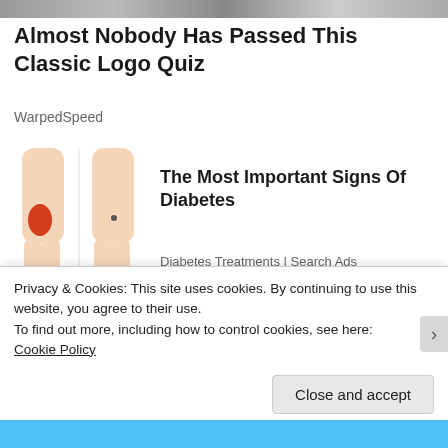[Figure (screenshot): Top strip banner image, partially visible]
Almost Nobody Has Passed This Classic Logo Quiz
WarpedSpeed
[Figure (illustration): Two illustrated human legs showing red highlighted areas indicating diabetes signs]
The Most Important Signs Of Diabetes
Diabetes Treatments | Search Ads
[Figure (photo): Photo of a narrow house building exterior]
[Pics] This 'Skinny House' Is Only 3 Feet Wide, But Wait Till You See The...
Privacy & Cookies: This site uses cookies. By continuing to use this website, you agree to their use.
To find out more, including how to control cookies, see here:
Cookie Policy
Close and accept